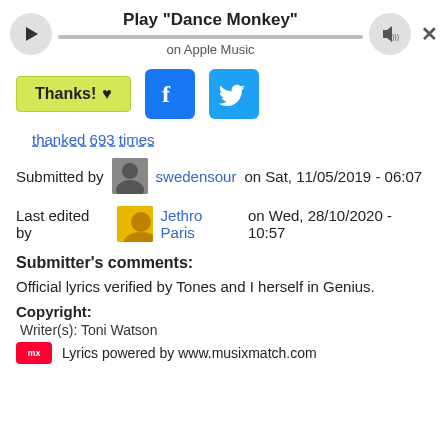Play "Dance Monkey" on Apple Music
Thanks! ♥
thanked 693 times
Submitted by swedensour on Sat, 11/05/2019 - 06:07
Last edited by Jethro Paris on Wed, 28/10/2020 - 10:57
Submitter's comments:
Official lyrics verified by Tones and I herself in Genius.
Copyright:
Writer(s): Toni Watson
Lyrics powered by www.musixmatch.com